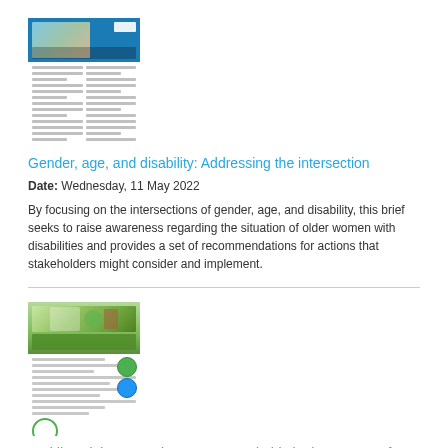[Figure (photo): Thumbnail of a policy brief document titled 'Gender, age, and disability: Addressing the intersection' showing a woman with sunglasses and document text columns]
Gender, age, and disability: Addressing the intersection
Date: Wednesday, 11 May 2022
By focusing on the intersections of gender, age, and disability, this brief seeks to raise awareness regarding the situation of older women with disabilities and provides a set of recommendations for actions that stakeholders might consider and implement.
[Figure (photo): Thumbnail of a policy brief document about tackling violence against women and girls in the context of climate change, with green illustrated cover]
Tackling violence against women and girls in the context of climate